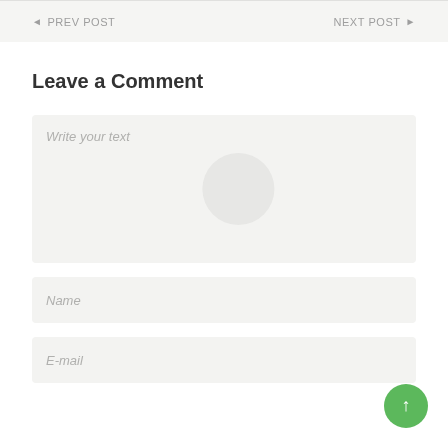◄ PREV POST    NEXT POST ►
Leave a Comment
Write your text
Name
E-mail